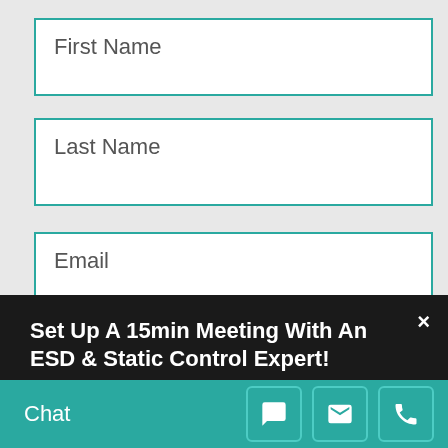First Name
Last Name
Email
Set Up A 15min Meeting With An ESD & Static Control Expert!
Do you have questions on ESD or Static Control? A specific problem?  Questions on a product or solution?  Set up a 15 Minute Meeting with an ESD & Static Control Expert.
Chat